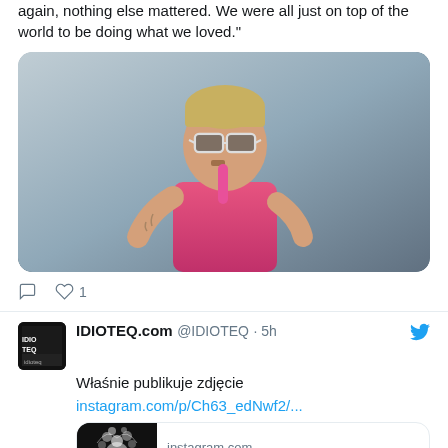again, nothing else mattered. We were all just on top of the world to be doing what we loved."
[Figure (photo): A man with short blonde hair wearing sunglasses and a pink tank top, singing into a pink microphone on stage, with tattoos visible on his arms.]
○  ♡ 1
IDIOTEQ.com @IDIOTEQ · 5h
Właśnie publikuje zdjęcie
instagram.com/p/Ch63_edNwf2/...
[Figure (screenshot): Instagram link card showing instagram.com domain, IDIOTEQ.com (@idioteq_com) • Instagra... with a black and white image of a figure with an exploding head of flowers/smoke.]